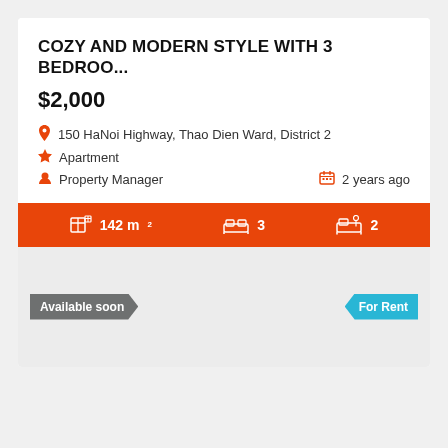COZY AND MODERN STYLE WITH 3 BEDROO...
$2,000
150 HaNoi Highway, Thao Dien Ward, District 2
Apartment
Property Manager
2 years ago
142 m²  3  2
Available soon
For Rent